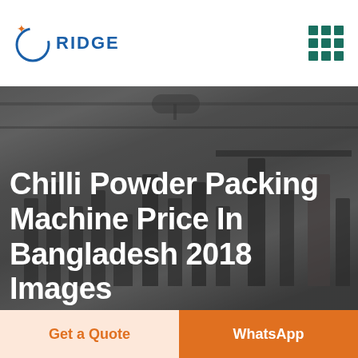RIDGE
[Figure (photo): Industrial packing machine factory floor with equipment and shelving, used as hero background image]
Chilli Powder Packing Machine Price In Bangladesh 2018 Images
Get a Quote
WhatsApp